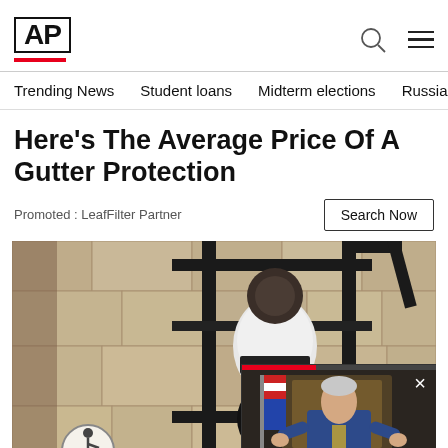AP
Trending News   Student loans   Midterm elections   Russia-Ukr
Here's The Average Price Of A Gutter Protection
Promoted : LeafFilter Partner
Search Now
[Figure (photo): Main advertisement image showing a security camera mounted on a stone wall lantern fixture, with a floating video overlay in the bottom-right corner showing a person in a blue suit speaking at a podium with flags in the background.]